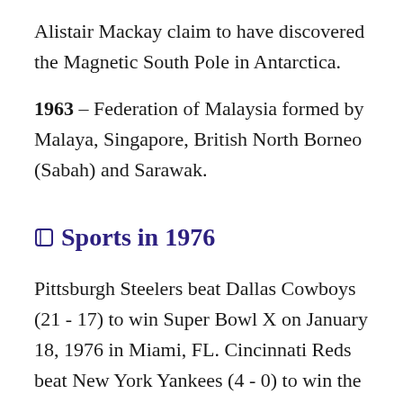Alistair Mackay claim to have discovered the Magnetic South Pole in Antarctica.
1963 – Federation of Malaysia formed by Malaya, Singapore, British North Borneo (Sabah) and Sarawak.
Sports in 1976
Pittsburgh Steelers beat Dallas Cowboys (21 - 17) to win Super Bowl X on January 18, 1976 in Miami, FL. Cincinnati Reds beat New York Yankees (4 - 0) to win the 1976 World Series. Boston Celtics beat Phoenix Suns (4 - 2) to win